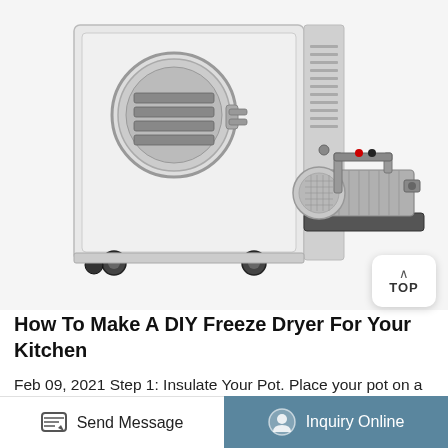[Figure (photo): A white freeze dryer machine on wheels with a circular door and ventilation slots, next to an external vacuum pump with a motor, both shown on a white background.]
How To Make A DIY Freeze Dryer For Your Kitchen
Feb 09, 2021 Step 1: Insulate Your Pot. Place your pot on a styrofoam sheet, then trace it around. Cut the sheet following the measurement and shape of your pot. Do the same process for the
Send Message   Inquiry Online